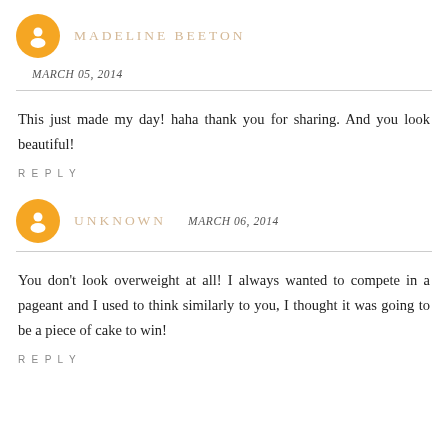MADELINE BEETON
MARCH 05, 2014
This just made my day! haha thank you for sharing. And you look beautiful!
REPLY
UNKNOWN  MARCH 06, 2014
You don't look overweight at all! I always wanted to compete in a pageant and I used to think similarly to you, I thought it was going to be a piece of cake to win!
REPLY